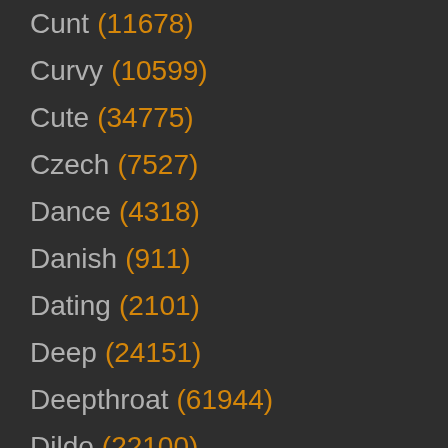Cunt (11678)
Curvy (10599)
Cute (34775)
Czech (7527)
Dance (4318)
Danish (911)
Dating (2101)
Deep (24151)
Deepthroat (61944)
Dildo (22100)
Dirty (11457)
Doctor (4534)
Doggystyle (95753)
Doll (5199)
Domination (4740)